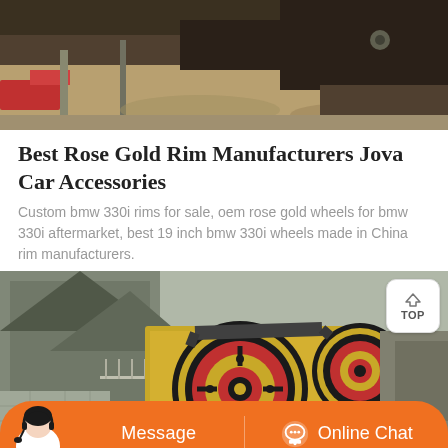[Figure (photo): Top portion of industrial machinery or vehicle, close-up showing metal parts with rust, red and yellow components, against a sandy/rocky background]
Best Rose Gold Rim Manufacturers Jova Car Accessories
Custom bmw 330i rims for sale, oem rose gold wheels for bmw 330i aftermarket, best 19 inch bmw 330i wheels made in China rim manufacturers.
[Figure (photo): Industrial jaw crusher machine with large yellow and red flywheel pulleys and belt drive system, set against industrial building and stone wall background. Includes a TOP navigation button overlay and an orange chat bar at the bottom with a customer service person icon, Message button, and Online Chat button.]